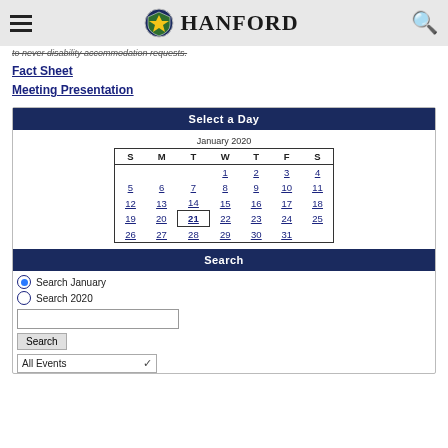Hanford
to never disability accommodation requests.
Fact Sheet
Meeting Presentation
[Figure (other): Calendar widget showing January 2020 with day 21 highlighted, inside a panel labeled 'Select a Day']
Search
Search January (selected radio)
Search 2020
Search button and All Events dropdown